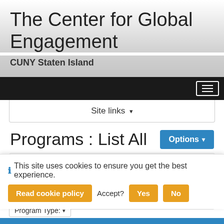The Center for Global Engagement
CUNY Staten Island
[Figure (screenshot): Dark navigation bar with hamburger menu icon on the right]
Site links ▾
Programs : List All
This is a listing of programs that are currently active on this site. Click on the name of a program to view the brochure page of that program. You can also click on the column headers
ⓘ This site uses cookies to ensure you get the best experience.
Read cookie policy   Accept?   Yes   No
Program Type: ▾